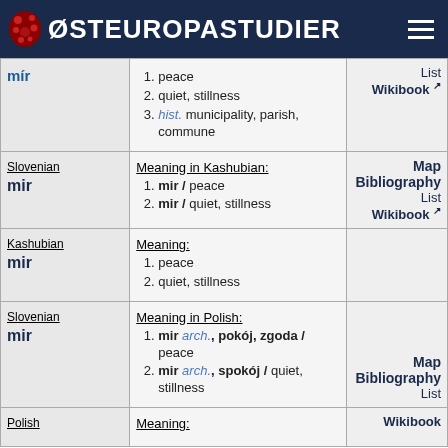ØSTEUROPASTUDIER
| Language/Word | Meaning | Links |
| --- | --- | --- |
| mír | 1. peace
2. quiet, stillness
3. hist. municipality, parish, commune | List
Wikibook |
| Slovenian
mir | Meaning in Kashubian:
1. mir / peace
2. mir / quiet, stillness | Map
Bibliography
List
Wikibook |
| Kashubian
mir | Meaning:
1. peace
2. quiet, stillness |  |
| Slovenian
mir | Meaning in Polish:
1. mir arch., pokój, zgoda / peace
2. mir arch., spokój / quiet, stillness | Map
Bibliography
List |
| Polish | Meaning: | Wikibook |